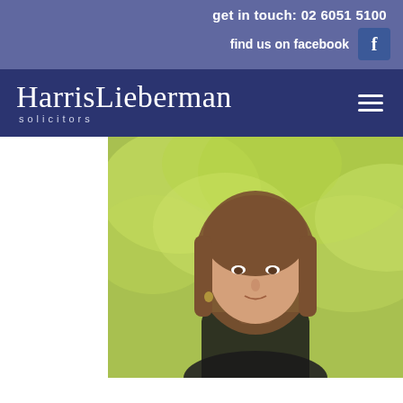get in touch: 02 6051 5100
find us on facebook
[Figure (logo): HarrisLieberman Solicitors law firm logo in white text on dark navy background with hamburger menu icon]
[Figure (photo): Professional headshot of a woman with long brown hair, wearing dark clothing, with blurred green foliage in the background. White panel on left side.]